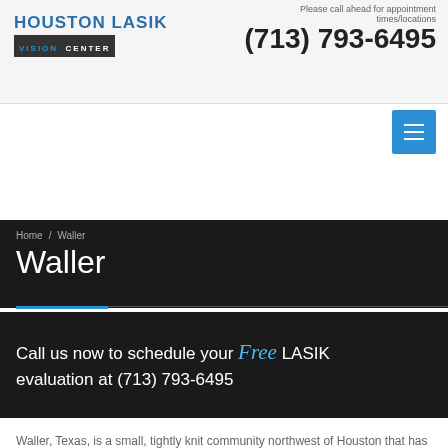Please call ahead for appointment times/locations
(713) 793-6495
[Figure (logo): Houston Lasik Vision Center logo]
Home / Waller
Waller
Call us now to schedule your Free LASIK evaluation at (713) 793-6495
Waller, Texas, is a small, tightly knit community northwest of Houston that has progressively developed while retaining a quiet, small-town feel over the course of its history.